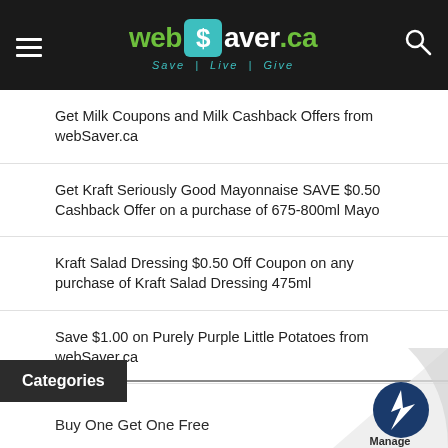webSaver.ca — Save | Live | Give
Get Milk Coupons and Milk Cashback Offers from webSaver.ca
Get Kraft Seriously Good Mayonnaise SAVE $0.50 Cashback Offer on a purchase of 675-800ml Mayo
Kraft Salad Dressing $0.50 Off Coupon on any purchase of Kraft Salad Dressing 475ml
Save $1.00 on Purely Purple Little Potatoes from webSaver.ca
Categories
Buy One Get One Free
Cashback
Contests
Coupons